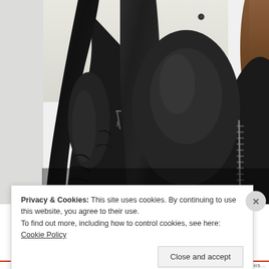[Figure (photo): Close-up photo of a person wearing a black leather jacket, showing the torso and arm area with zipper details. A white/light grey margin is visible on the left side. Brown hair is partially visible on the right.]
Privacy & Cookies: This site uses cookies. By continuing to use this website, you agree to their use.
To find out more, including how to control cookies, see here: Cookie Policy
Close and accept